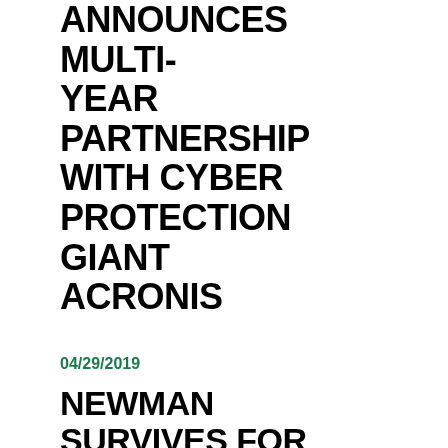ANNOUNCES MULTI-YEAR PARTNERSHIP WITH CYBER PROTECTION GIANT ACRONIS
04/29/2019
NEWMAN SURVIVES FOR TOP-10 AT TALLADEGA
04/25/2019
RFR HEADS TO SWEET